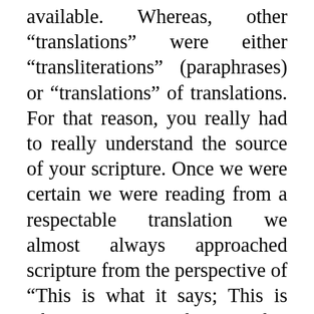available. Whereas, other "translations" were either "transliterations" (paraphrases) or "translations" of translations. For that reason, you really had to really understand the source of your scripture. Once we were certain we were reading from a respectable translation we almost always approached scripture from the perspective of “This is what it says; This is what it means; This is what other denominations wrongly interpret this passage as saying.” For this reason, it is difficult for me, to this day, to read a passage of scripture without